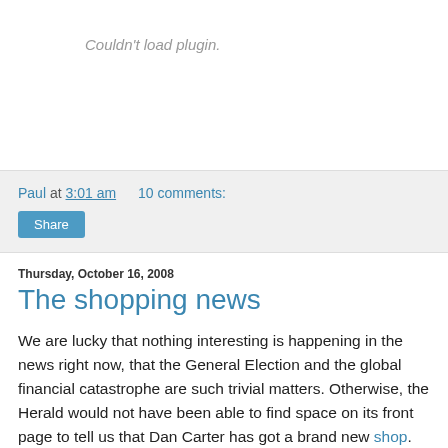[Figure (other): Plugin placeholder area showing 'Couldn't load plugin.' text in grey italic]
Paul at 3:01 am    10 comments:
Share
Thursday, October 16, 2008
The shopping news
We are lucky that nothing interesting is happening in the news right now, that the General Election and the global financial catastrophe are such trivial matters. Otherwise, the Herald would not have been able to find space on its front page to tell us that Dan Carter has got a brand new shop. Mr